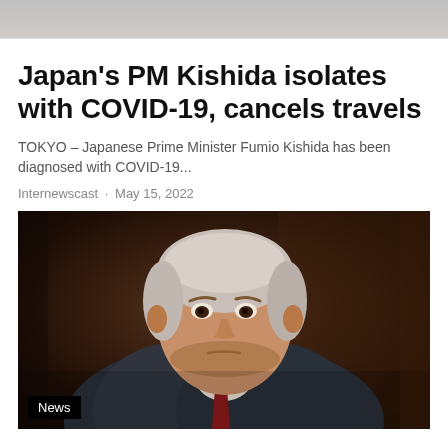[Figure (photo): Top partial photo strip of two people, partially visible at top of page]
Japan's PM Kishida isolates with COVID-19, cancels travels
TOKYO – Japanese Prime Minister Fumio Kishida has been diagnosed with COVID-19...
Internewscast · May 15, 2022
[Figure (photo): Portrait photo of an older man with silver hair wearing a dark suit and red tie, looking serious, with a dark brown background. A black 'News' label tag is shown in the bottom left corner of the photo.]